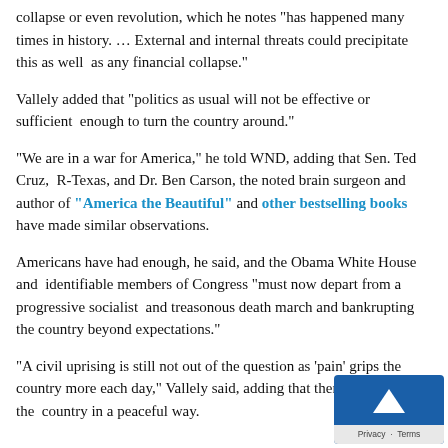collapse or even revolution, which he notes "has happened many times in history. … External and internal threats could precipitate this as well as any financial collapse."
Vallely added that "politics as usual will not be effective or sufficient enough to turn the country around."
"We are in a war for America," he told WND, adding that Sen. Ted Cruz, R-Texas, and Dr. Ben Carson, the noted brain surgeon and author of "America the Beautiful" and other bestselling books have made similar observations.
Americans have had enough, he said, and the Obama White House and identifiable members of Congress "must now depart from a progressive socialist and treasonous death march and bankrupting the country beyond expectations."
"A civil uprising is still not out of the question as 'pain' grips the country more each day," Vallely said, adding that there is to change the country in a peaceful way.